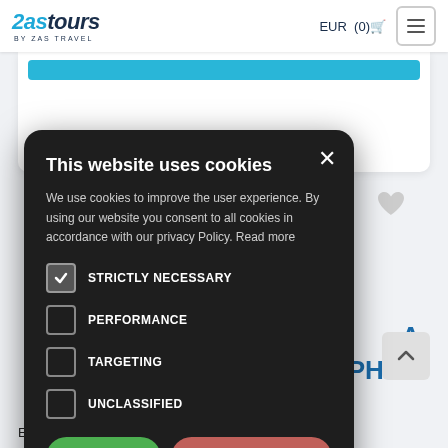ZasTours BY ZAS TRAVEL | EUR (0) [cart]
[Figure (screenshot): Cookie consent modal dialog on ZasTours website. Modal has dark background with title 'This website uses cookies', body text about privacy policy, checkboxes for STRICTLY NECESSARY (checked), PERFORMANCE, TARGETING, UNCLASSIFIED, and two buttons: I AGREE (green) and I DISAGREE (red/pink).]
Embark on a four-hour tour of the island of